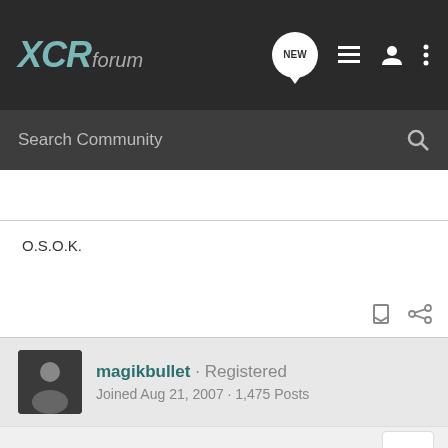XCRforum
Search Community
O.S.O.K.
magikbullet · Registered
Joined Aug 21, 2007 · 1,475 Posts
#4 · Oct 12, 2007
sweet p